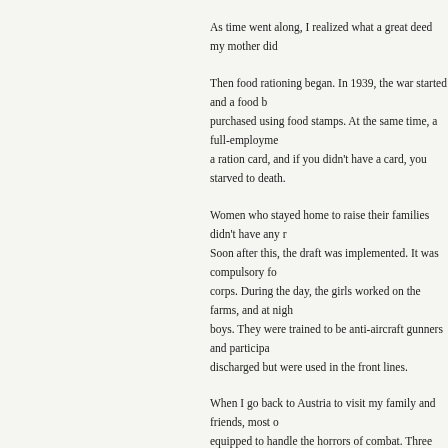As time went along, I realized what a great deed my mother did
Then food rationing began. In 1939, the war started and a food b purchased using food stamps. At the same time, a full-employme a ration card, and if you didn't have a card, you starved to death.
Women who stayed home to raise their families didn't have any r Soon after this, the draft was implemented. It was compulsory fo corps. During the day, the girls worked on the farms, and at nigh boys. They were trained to be anti-aircraft gunners and participa discharged but were used in the front lines.
When I go back to Austria to visit my family and friends, most o equipped to handle the horrors of combat. Three months before I had a leg amputated, so I was spared having to go into the labor
When the mothers had to go out into the work force, the governm your children ages four weeks old to school age and leave them t the government. The state raised a whole generation of children. people highly trained in child psychology. By this time, no one t
Before Hitler, we had very good medical care. Many American d care was socialized, free for everyone. Doctors were salaried by